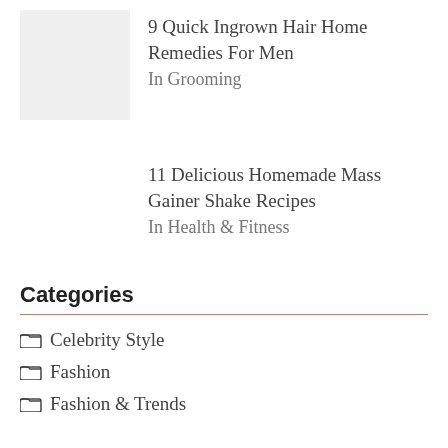[Figure (photo): Thumbnail image placeholder (light gray box)]
9 Quick Ingrown Hair Home Remedies For Men
In Grooming
11 Delicious Homemade Mass Gainer Shake Recipes
In Health & Fitness
Categories
Celebrity Style
Fashion
Fashion & Trends